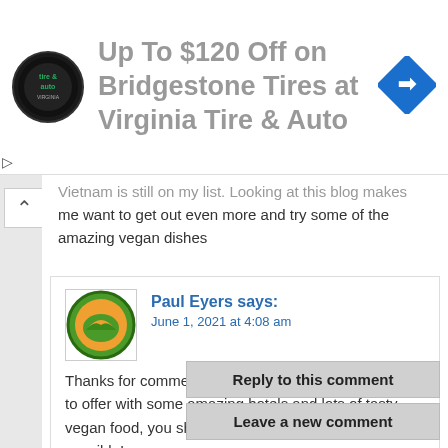[Figure (logo): Virginia Tire & Auto circular logo on left, blue navigation arrow icon on right, advertisement banner]
Up To $120 Off on Bridgestone Tires at Virginia Tire & Auto
Vietnam is still on my list. Looking at this blog makes me want to get out even more and try some of the amazing vegan dishes
Paul Eyers says:
June 1, 2021 at 4:08 am

Thanks for commenting Terry, Vietnam has so much to offer with some amazing hotels and lots of tasty vegan food, you should make it happen once travel is possible!
Reply to this comment
Leave a new comment